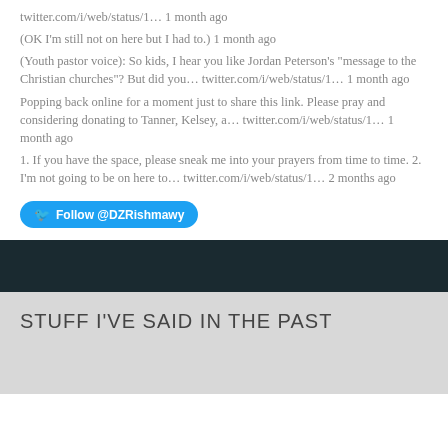twitter.com/i/web/status/1… 1 month ago
(OK I'm still not on here but I had to.) 1 month ago
(Youth pastor voice): So kids, I hear you like Jordan Peterson's "message to the Christian churches"? But did you… twitter.com/i/web/status/1… 1 month ago
Popping back online for a moment just to share this link. Please pray and considering donating to Tanner, Kelsey, a… twitter.com/i/web/status/1… 1 month ago
1. If you have the space, please sneak me into your prayers from time to time. 2. I'm not going to be on here to… twitter.com/i/web/status/1… 2 months ago
Follow @DZRishmawy
STUFF I'VE SAID IN THE PAST